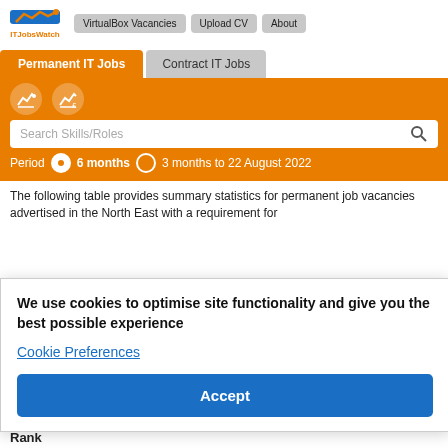ITJobsWatch | VirtualBox Vacancies | Upload CV | About
Permanent IT Jobs | Contract IT Jobs
Search Skills/Roles
Period  6 months  3 months to 22 August 2022
The following table provides summary statistics for permanent job vacancies advertised in the North East with a requirement for ... salaries ... months to ... previous
Same period 2020
Rank
We use cookies to optimise site functionality and give you the best possible experience
Cookie Preferences
Accept